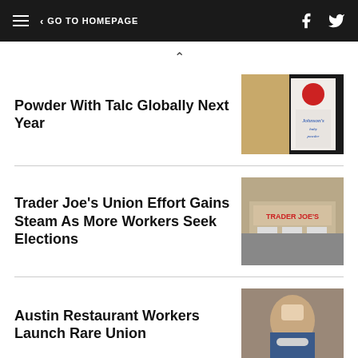GO TO HOMEPAGE
Powder With Talc Globally Next Year
[Figure (photo): Johnson's Baby Powder bottle close-up]
Trader Joe's Union Effort Gains Steam As More Workers Seek Elections
[Figure (photo): Trader Joe's store front exterior]
Austin Restaurant Workers Launch Rare Union
[Figure (photo): Restaurant worker wearing mask]